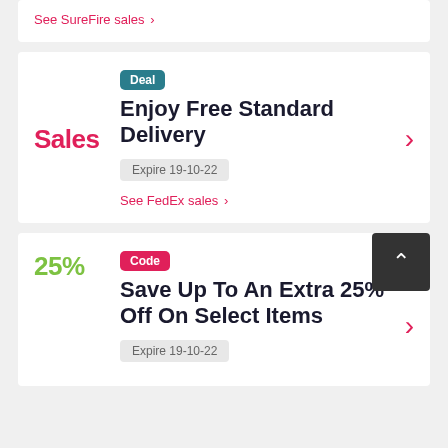See SureFire sales >
Deal
Sales
Enjoy Free Standard Delivery
Expire 19-10-22
See FedEx sales >
Code
25%
Save Up To An Extra 25% Off On Select Items
Expire 19-10-22